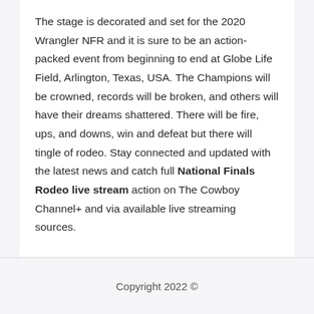The stage is decorated and set for the 2020 Wrangler NFR and it is sure to be an action-packed event from beginning to end at Globe Life Field, Arlington, Texas, USA. The Champions will be crowned, records will be broken, and others will have their dreams shattered. There will be fire, ups, and downs, win and defeat but there will tingle of rodeo. Stay connected and updated with the latest news and catch full National Finals Rodeo live stream action on The Cowboy Channel+ and via available live streaming sources.
Copyright 2022 ©